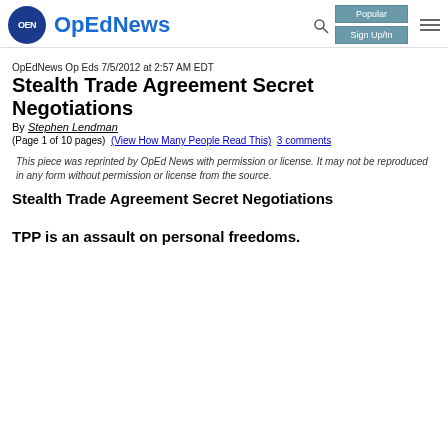OpEdNews  Popular  Sign Up/In
OpEdNews Op Eds 7/5/2012 at 2:57 AM EDT
Stealth Trade Agreement Secret Negotiations
By Stephen Lendman
(Page 1 of 10 pages)  (View How Many People Read This)  3 comments
This piece was reprinted by OpEd News with permission or license. It may not be reproduced in any form without permission or license from the source.
Stealth Trade Agreement Secret Negotiations
TPP is an assault on personal freedoms.